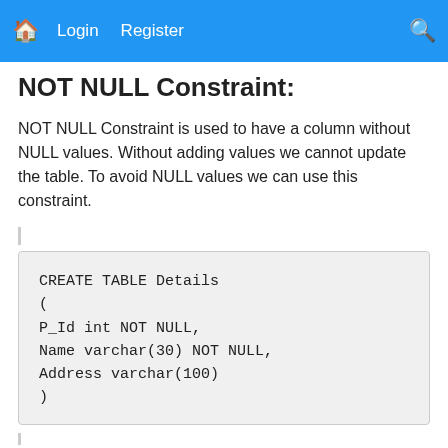🏠 Login Register 🔍
NOT NULL Constraint:
NOT NULL Constraint is used to have a column without NULL values. Without adding values we cannot update the table. To avoid NULL values we can use this constraint.
CREATE TABLE Details
(
P_Id int NOT NULL,
Name varchar(30) NOT NULL,
Address varchar(100)
)